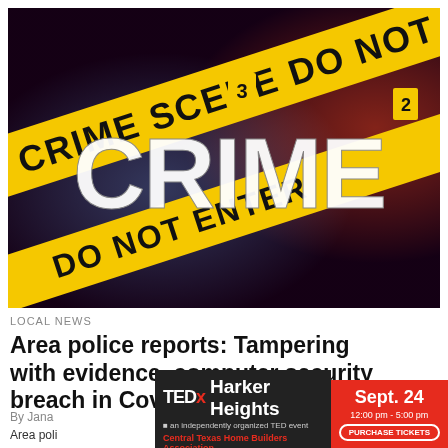[Figure (photo): Crime scene tape graphic with blue and red police lights and large stylized 'CRIME' text overlay on dark background. Yellow 'CRIME SCENE DO NOT ENTER' tape is visible diagonally across the image.]
LOCAL NEWS
Area police reports: Tampering with evidence, computer security breach in Cove
By Jana
Area poli
[Figure (infographic): TEDx Harker Heights advertisement banner. Left side dark background with TEDx logo and 'Harker Heights' text, subtitle 'an independently organized TED event' and 'Central Texas Home Builders Association'. Right side red background with 'Sept. 24', '12:00 pm - 5:00 pm', and 'PURCHASE TICKETS' button.]